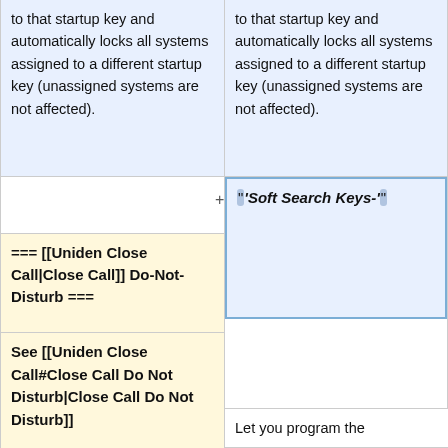to that startup key and automatically locks all systems assigned to a different startup key (unassigned systems are not affected).
to that startup key and automatically locks all systems assigned to a different startup key (unassigned systems are not affected).
=== [[Uniden Close Call|Close Call]] Do-Not-Disturb ===
""'Soft Search Keys-'""
See [[Uniden Close Call#Close Call Do Not Disturb|Close Call Do Not Disturb]]
=== "Soft Search Keys ===
Let you program the
Let you program the